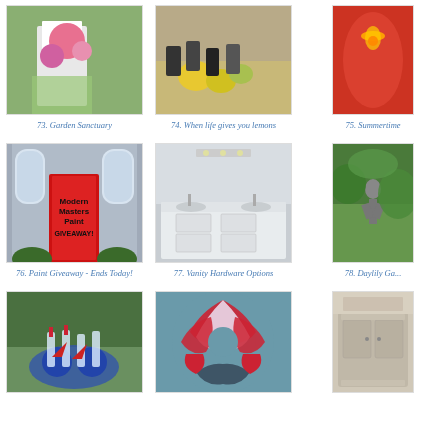[Figure (photo): Garden with pink flowers and white wooden structures]
73. Garden Sanctuary
[Figure (photo): Lemons and vegetables with tins on a counter]
74. When life gives you lemons
[Figure (photo): Red candle glowing in a glass]
75. Summertime
[Figure (photo): Red door with Modern Masters Paint GIVEAWAY! text overlay]
76. Paint Giveaway - Ends Today!
[Figure (photo): White bathroom vanity with double sinks and hardware]
77. Vanity Hardware Options
[Figure (photo): Garden statue with greenery and water feature]
78. Daylily Ga...
[Figure (photo): Patriotic table setting with American flag glasses and red napkins]
[Figure (photo): Red white and blue fabric wreath]
[Figure (photo): Antique painted wooden furniture piece]